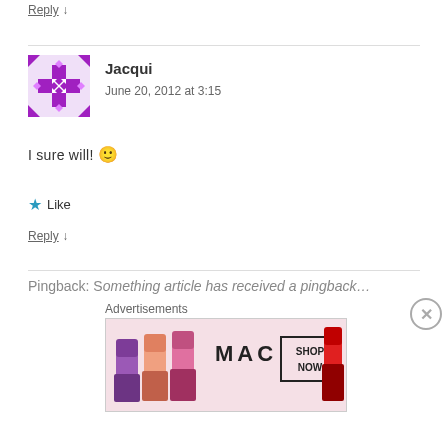Reply ↓
[Figure (illustration): Purple geometric avatar with cross/star pattern for user Jacqui]
Jacqui
June 20, 2012 at 3:15
I sure will! 🙂
★ Like
Reply ↓
Pingback: Something article has received a pingback...
Advertisements
[Figure (photo): MAC cosmetics advertisement showing colorful lipsticks with SHOP NOW text]